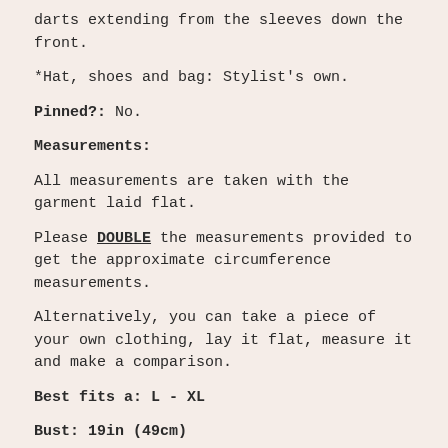darts extending from the sleeves down the front.
*Hat, shoes and bag: Stylist's own.
Pinned?: No.
Measurements:
All measurements are taken with the garment laid flat.
Please DOUBLE the measurements provided to get the approximate circumference measurements.
Alternatively, you can take a piece of your own clothing, lay it flat, measure it and make a comparison.
Best fits a: L - XL
Bust: 19in (49cm)
Shoulder: 15in (38.5cm)
Waist: 17.5in (45cm). Elasticated waist but there are 2 cloth ties which